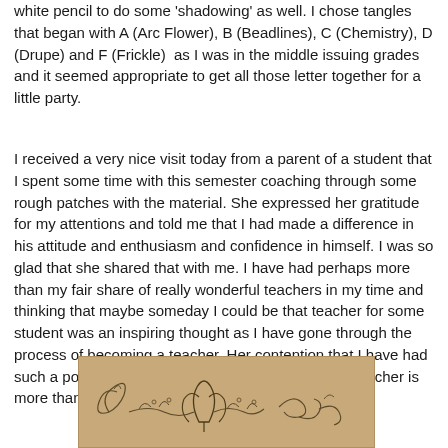white pencil to do some 'shadowing' as well. I chose tangles that began with A (Arc Flower), B (Beadlines), C (Chemistry), D (Drupe) and F (Frickle)  as I was in the middle issuing grades and it seemed appropriate to get all those letter together for a little party.
I received a very nice visit today from a parent of a student that I spent some time with this semester coaching through some rough patches with the material. She expressed her gratitude for my attentions and told me that I had made a difference in his attitude and enthusiasm and confidence in himself. I was so glad that she shared that with me. I have had perhaps more than my fair share of really wonderful teachers in my time and thinking that maybe someday I could be that teacher for some student was an inspiring thought as I have gone through the process of becoming a teacher. Her contention that I have had such a positive effect on this student as a first year teacher is more than I could hope for.
[Figure (illustration): A decorative illustration on a tan/kraft paper background featuring ornamental tangles or zentangle designs with curling lines and floral-like patterns.]